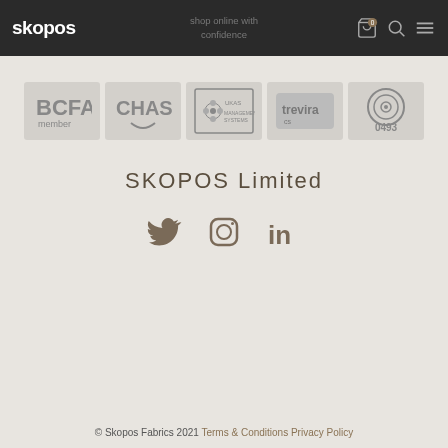skopos
[Figure (logo): BCFA member logo]
[Figure (logo): CHAS logo]
[Figure (logo): UKAS accredited logo]
[Figure (logo): trevira CS logo]
[Figure (logo): 0493 certification mark logo]
SKOPOS Limited
[Figure (illustration): Social media icons: Twitter, Instagram, LinkedIn]
© Skopos Fabrics 2021 Terms & Conditions Privacy Policy